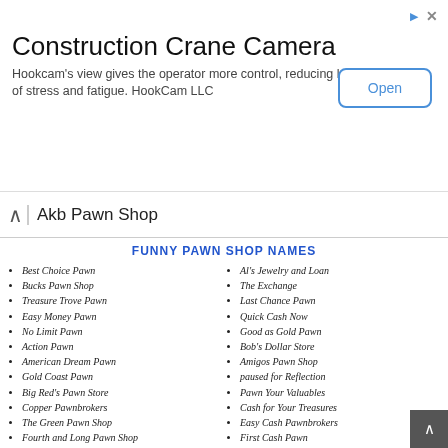[Figure (other): Advertisement banner for Construction Crane Camera by HookCam LLC with an Open button]
Akb Pawn Shop
FUNNY PAWN SHOP NAMES
Best Choice Pawn
Bucks Pawn Shop
Treasure Trove Pawn
Easy Money Pawn
No Limit Pawn
Action Pawn
American Dream Pawn
Gold Coast Pawn
Big Red's Pawn Store
Copper Pawnbrokers
The Green Pawn Shop
Fourth and Long Pawn Shop
Big Daddy's Pawn Shop
Arrow Cash Advance Loans
Frank's Cash and Carry
Penny Pincher
Al's Jewelry and Loan
The Exchange
Last Chance Pawn
Quick Cash Now
Good as Gold Pawn
Bob's Dollar Store
Amigos Pawn Shop
paused for Reflection
Pawn Your Valuables
Cash for Your Treasures
Easy Cash Pawnbrokers
First Cash Pawn
Jackpot Pawn
Aladdin's Gold Loan
Too Legit to Pawn
Sharpshooter Pawn